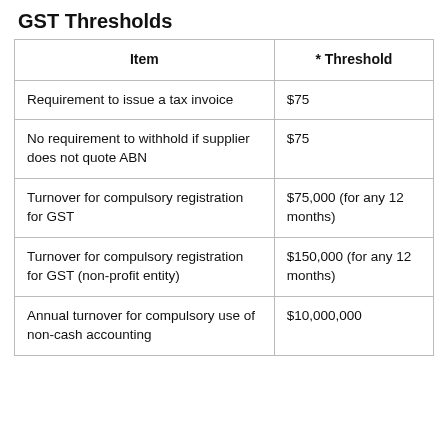GST Thresholds
| Item | * Threshold |
| --- | --- |
| Requirement to issue a tax invoice | $75 |
| No requirement to withhold if supplier does not quote ABN | $75 |
| Turnover for compulsory registration for GST | $75,000 (for any 12 months) |
| Turnover for compulsory registration for GST (non-profit entity) | $150,000 (for any 12 months) |
| Annual turnover for compulsory use of non-cash accounting | $10,000,000 |